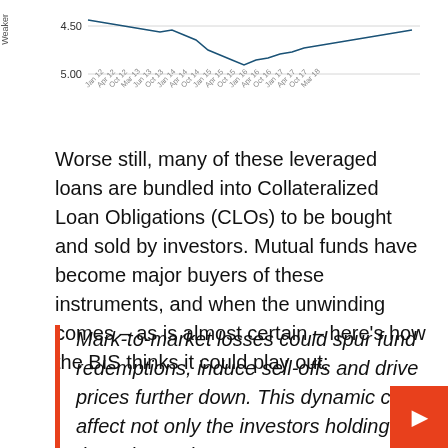[Figure (continuous-plot): Partial view of a line chart showing values around 4.50 and 5.00 on y-axis, with date labels on x-axis ranging from 2012 to 2018. Y-axis has a 'Weaker' label rotated vertically.]
Worse still, many of these leveraged loans are bundled into Collateralized Loan Obligations (CLOs) to be bought and sold by investors. Mutual funds have become major buyers of these instruments, and when the unwinding comes – as is almost certain – here's how the BIS thinks it could play out:
Mark-to-market losses could spur fund redemptions, induce sell-offs and drive prices further down. This dynamic can affect not only the investors holding these loans, but